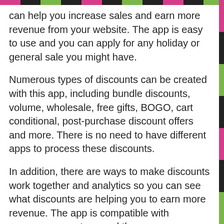can help you increase sales and earn more revenue from your website. The app is easy to use and you can apply for any holiday or general sale you might have.
Numerous types of discounts can be created with this app, including bundle discounts, volume, wholesale, free gifts, BOGO, cart conditional, post-purchase discount offers and more. There is no need to have different apps to process these discounts.
In addition, there are ways to make discounts work together and analytics so you can see what discounts are helping you to earn more revenue. The app is compatible with currency converters, and there are scheduling facilities with this mobile-friendly app.
All In One Automatic Discounts